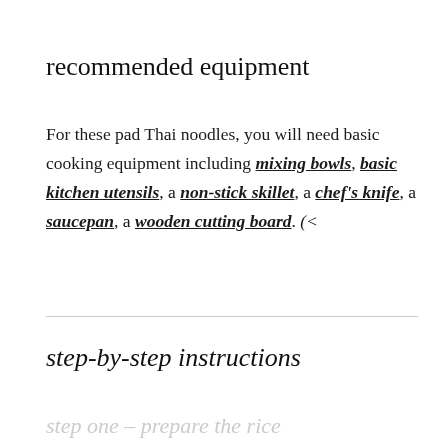recommended equipment
For these pad Thai noodles, you will need basic cooking equipment including mixing bowls, basic kitchen utensils, a non-stick skillet, a chef's knife, a saucepan, a wooden cutting board. (<<affiliate links)
step-by-step instructions
step one – prepare the rice